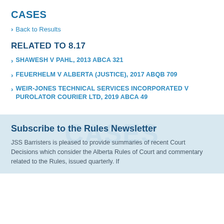CASES
Back to Results
RELATED TO 8.17
SHAWESH V PAHL, 2013 ABCA 321
FEUERHELM V ALBERTA (JUSTICE), 2017 ABQB 709
WEIR-JONES TECHNICAL SERVICES INCORPORATED V PUROLATOR COURIER LTD, 2019 ABCA 49
Subscribe to the Rules Newsletter
JSS Barristers is pleased to provide summaries of recent Court Decisions which consider the Alberta Rules of Court and commentary related to the Rules, issued quarterly. If